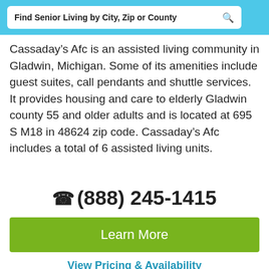Find Senior Living by City, Zip or County
Cassaday’s Afc is an assisted living community in Gladwin, Michigan. Some of its amenities include guest suites, call pendants and shuttle services. It provides housing and care to elderly Gladwin county 55 and older adults and is located at 695 S M18 in 48624 zip code. Cassaday’s Afc includes a total of 6 assisted living units.
(☎ (888) 245-1415
Learn More
View Pricing & Availability